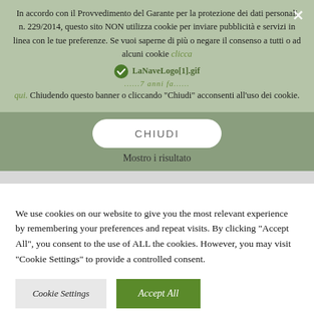In accordo con il Provvedimento del Garante per la protezione dei dati personali n. 229/2014, questo sito NON utilizza cookie per inviare pubblicità e servizi in linea con le tue preferenze. Se vuoi saperne di più o negare il consenso a tutti o ad alcuni cookie clicca qui. Chiudendo questo banner o cliccando "Chiudi" acconsenti all'uso dei cookie.
[Figure (other): Green checkmark icon followed by filename text 'LaNaveLogo[1].gif' and italic text '7 anni fa']
CHIUDI
Mostro i risultato
We use cookies on our website to give you the most relevant experience by remembering your preferences and repeat visits. By clicking "Accept All", you consent to the use of ALL the cookies. However, you may visit "Cookie Settings" to provide a controlled consent.
Cookie Settings
Accept All